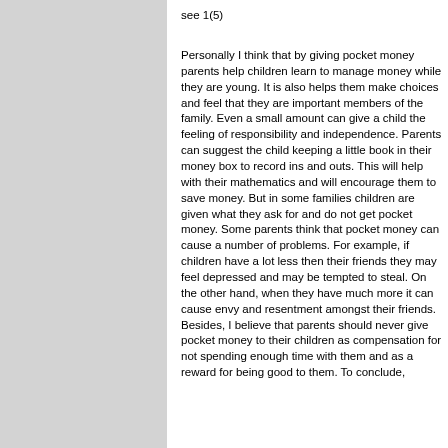see 1(5)
Personally I think that by giving pocket money parents help children learn to manage money while they are young. It is also helps them make choices and feel that they are important members of the family. Even a small amount can give a child the feeling of responsibility and independence. Parents can suggest the child keeping a little book in their money box to record ins and outs. This will help with their mathematics and will encourage them to save money. But in some families children are given what they ask for and do not get pocket money. Some parents think that pocket money can cause a number of problems. For example, if children have a lot less then their friends they may feel depressed and may be tempted to steal. On the other hand, when they have much more it can cause envy and resentment amongst their friends. Besides, I believe that parents should never give pocket money to their children as compensation for not spending enough time with them and as a reward for being good to them. To conclude,